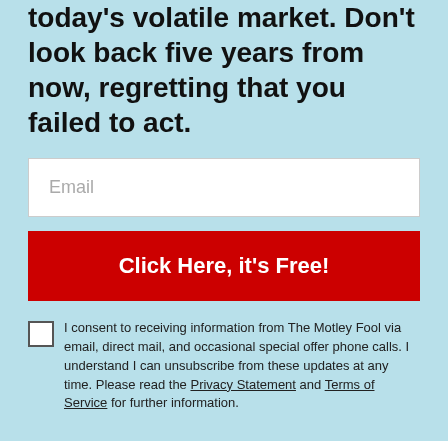today's volatile market. Don't look back five years from now, regretting that you failed to act.
Email
Click Here, it's Free!
I consent to receiving information from The Motley Fool via email, direct mail, and occasional special offer phone calls. I understand I can unsubscribe from these updates at any time. Please read the Privacy Statement and Terms of Service for further information.
Follow The Motley Fool Canada on Twitter